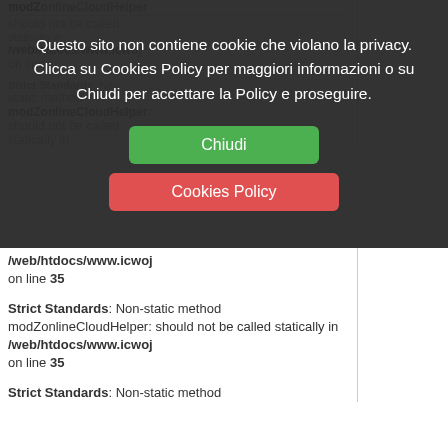modZonlineCloudHelper: should not be called statically in /web/htdocs/www.icwoj on line 35
[Figure (screenshot): Cookie consent modal overlay with dark background containing Italian text 'Questo sito non contiene cookie che violano la privacy. Clicca su Cookies Policy per maggiori informazioni o su Chiudi per accettare la Policy e proseguire.' with a green 'Chiudi' button and a red 'Cookies Policy' button.]
on line 35

Strict Standards: Non-static method modZonlineCloudHelper: should not be called statically in /web/htdocs/www.icwoj on line 35

Strict Standards: Non-static method